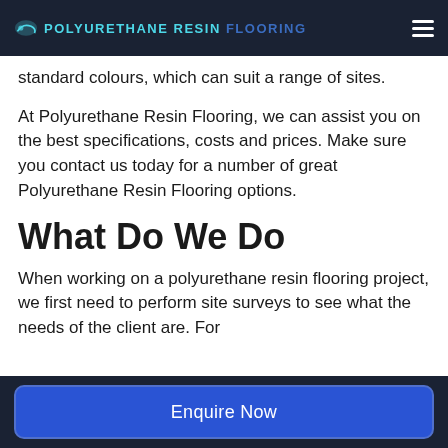POLYURETHANE RESIN FLOORING
standard colours, which can suit a range of sites.
At Polyurethane Resin Flooring, we can assist you on the best specifications, costs and prices. Make sure you contact us today for a number of great Polyurethane Resin Flooring options.
What Do We Do
When working on a polyurethane resin flooring project, we first need to perform site surveys to see what the needs of the client are. For
Enquire Now